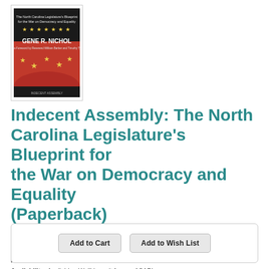[Figure (illustration): Book cover of 'Indecent Assembly' by Gene R. Nichol — red and black cover with gold stars and text]
Indecent Assembly: The North Carolina Legislature's Blueprint for the War on Democracy and Equality (Paperback)
By Gene R. Nichol, William J. Barber II (Foreword by), Timothy B. Tyson (Foreword by)
$16.95
ISBN: 9781949467277
Availability: Available - We'll have it for you ASAP!
Published: Blair - April 14th, 2020